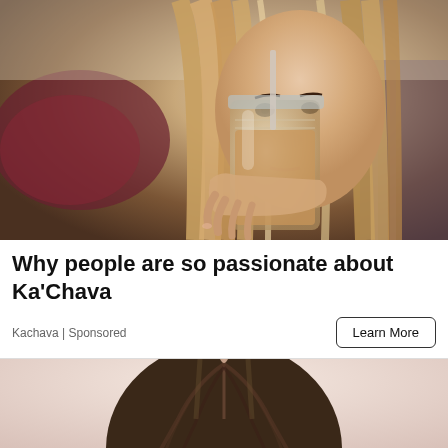[Figure (photo): Woman drinking a chocolate/brown shake from a glass mason jar with a straw, long straight light brown hair, blurred background with red patterned pillow and plaid fabric]
Why people are so passionate about Ka'Chava
Kachava | Sponsored
Learn More
[Figure (photo): Top of a woman's head with dark brown hair parted in the middle, light pink/beige background, only the top portion of her head visible]